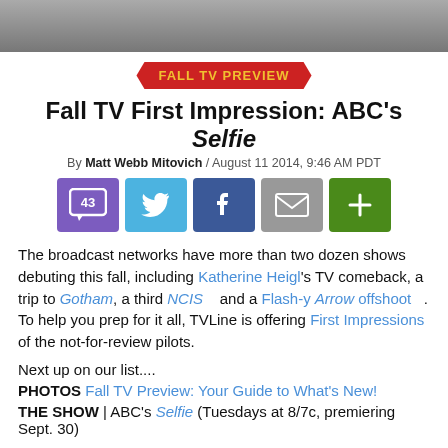[Figure (photo): Cropped top of page showing partial photo of people, gray/dark background]
FALL TV PREVIEW
Fall TV First Impression: ABC's Selfie
By Matt Webb Mitovich / August 11 2014, 9:46 AM PDT
[Figure (infographic): Social share buttons: 43 comments (purple), Twitter (blue), Facebook (dark blue), Email (gray), More/Plus (green)]
The broadcast networks have more than two dozen shows debuting this fall, including Katherine Heigl's TV comeback, a trip to Gotham, a third NCIS and a Flash-y Arrow offshoot. To help you prep for it all, TVLine is offering First Impressions of the not-for-review pilots.
Next up on our list....
PHOTOS Fall TV Preview: Your Guide to What's New!
THE SHOW | ABC's Selfie (Tuesdays at 8/7c, premiering Sept. 30)